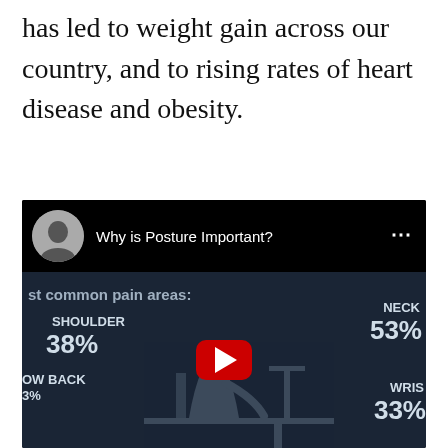has led to weight gain across our country, and to rising rates of heart disease and obesity.
[Figure (screenshot): YouTube video embed titled 'Why is Posture Important?' showing a thumbnail with common pain areas: Neck 53%, Shoulder 38%, Low Back 33%, Wrist 33%. A silhouette of a person sitting at a desk is visible along with the YouTube play button.]